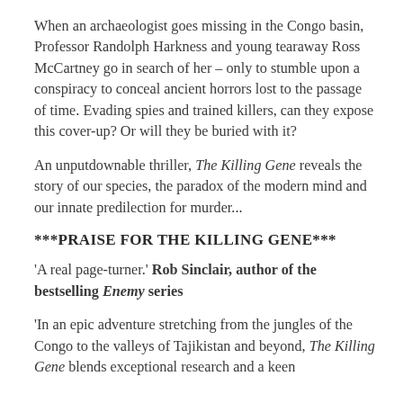When an archaeologist goes missing in the Congo basin, Professor Randolph Harkness and young tearaway Ross McCartney go in search of her – only to stumble upon a conspiracy to conceal ancient horrors lost to the passage of time. Evading spies and trained killers, can they expose this cover-up? Or will they be buried with it?
An unputdownable thriller, The Killing Gene reveals the story of our species, the paradox of the modern mind and our innate predilection for murder...
***PRAISE FOR THE KILLING GENE***
'A real page-turner.' Rob Sinclair, author of the bestselling Enemy series
'In an epic adventure stretching from the jungles of the Congo to the valleys of Tajikistan and beyond, The Killing Gene blends exceptional research and a keen